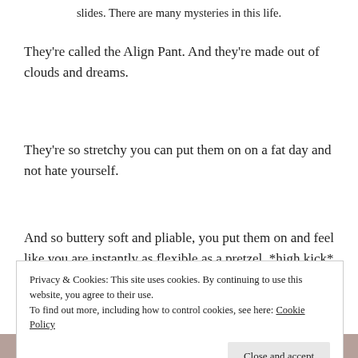slides. There are many mysteries in this life.
They're called the Align Pant. And they're made out of clouds and dreams.
They're so stretchy you can put them on on a fat day and not hate yourself.
And so buttery soft and pliable, you put them on and feel like you are instantly as flexible as a pretzel. *high kick*
Privacy & Cookies: This site uses cookies. By continuing to use this website, you agree to their use.
To find out more, including how to control cookies, see here: Cookie Policy
Close and accept